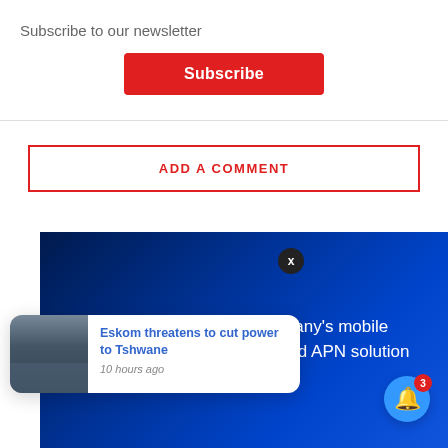Subscribe to our newsletter
Subscribe
ADD A COMMENT
[Figure (illustration): Blue gradient advertisement banner with text: Take control of your company's mobile connectivity with our Managed APN solution]
Eskom threatens to cut power to Tshwane
10 hours ago